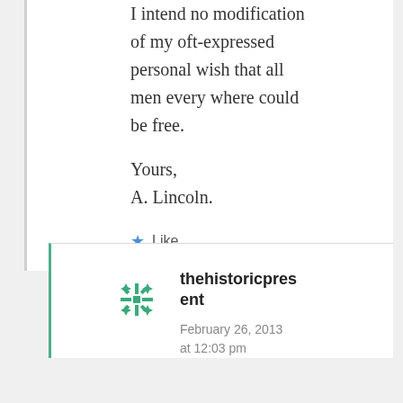I intend no modification of my oft-expressed personal wish that all men every where could be free.
Yours,
A. Lincoln.
Like
thehistoricpresent
February 26, 2013 at 12:03 pm